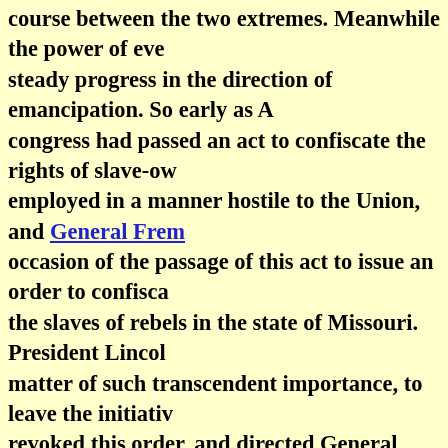course between the two extremes. Meanwhile the power of eve steady progress in the direction of emancipation. So early as A congress had passed an act to confiscate the rights of slave-ow employed in a manner hostile to the Union, and General Frem occasion of the passage of this act to issue an order to confisca the slaves of rebels in the state of Missouri. President Lincol matter of such transcendent importance, to leave the initiativ revoked this order, and directed General Fremont to modify i conform to the confiscation act of congress. This excited violent opposition to the president among the men in Missouri and elsewhere, while it drew upon him the sc embarrassing importunities of the conservatives, who wished more decided ground against the radicals. On 6 March, 1862, message to congress inclosing a resolution, the passage of whi to offer pecuniary aid from the general government to states t gradual abolishment of slavery. This resolution was promptl but in none of the slave-states was public sentiment sufficientl permit them to avail themselves of it. The next month, howev law emancipating slaves in the District of Columbia, with con owners, and President Lincoln had the happiness of affixing h measure that he had many years before, while a representativ fruitlessly urged upon the notice of congress. As the war went National armies penetrated there was a constant stream of fus adjoining regions, and the commanders of each department t